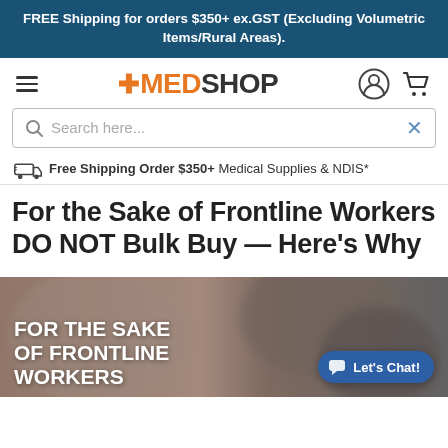FREE Shipping for orders $350+ ex.GST (Excluding Volumetric Items/Rural Areas).
[Figure (logo): MedShop logo with orange cross and dark text]
[Figure (screenshot): Search bar with magnifier icon and X button, placeholder text: Search here...]
Free Shipping Order $350+ Medical Supplies & NDIS*
For the Sake of Frontline Workers DO NOT Bulk Buy — Here's Why
[Figure (photo): Hero image with blurred background of people/warehouse. Bold white text overlay reads: FOR THE SAKE OF FRONTLINE WORKERS. Blue 'Let's Chat!' chat button in bottom right.]